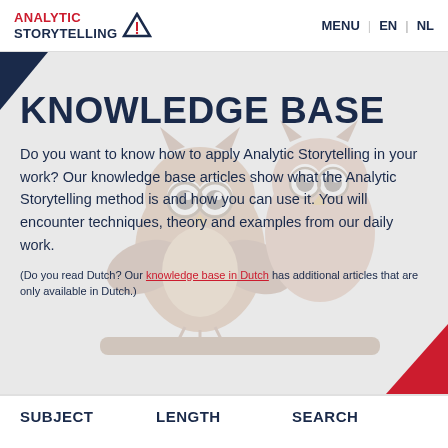ANALYTIC STORYTELLING | MENU  EN | NL
[Figure (illustration): Two cartoon owls with glasses perched on a branch, used as decorative background for the knowledge base hero section]
KNOWLEDGE BASE
Do you want to know how to apply Analytic Storytelling in your work? Our knowledge base articles show what the Analytic Storytelling method is and how you can use it. You will encounter techniques, theory and examples from our daily work.
(Do you read Dutch? Our knowledge base in Dutch has additional articles that are only available in Dutch.)
SUBJECT
LENGTH
SEARCH